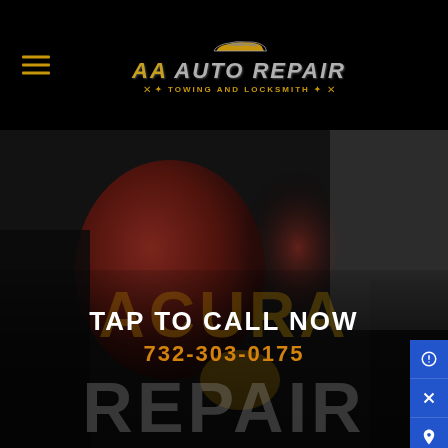[Figure (logo): AA Auto Repair Towing and Locksmith logo with car silhouette and crossed wrenches on black background]
[Figure (photo): Close-up photo of a person working on a red car brake or auto part, darkened hero image]
TAP TO CALL NOW
732-303-0175